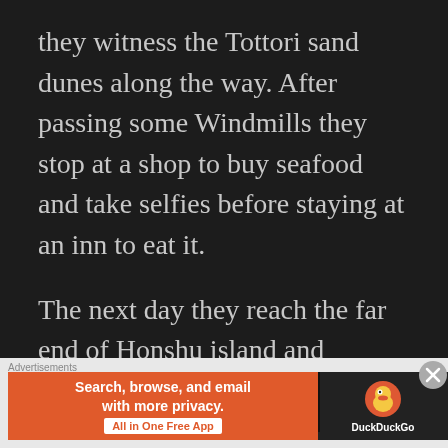they witness the Tottori sand dunes along the way. After passing some Windmills they stop at a shop to buy seafood and take selfies before staying at an inn to eat it.
The next day they reach the far end of Honshu island and continue their journey until they end up sleeping in a net cafe. Their destination is set that morning. To go as far as their Cubs can take them. They eventually arrive at Cape Sata, where they see Cherry trees below them. The
[Figure (screenshot): DuckDuckGo advertisement banner with orange section reading 'Search, browse, and email with more privacy. All in One Free App' and dark section with DuckDuckGo duck logo and brand name]